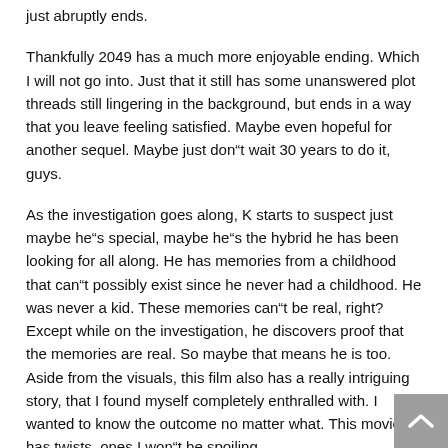just abruptly ends.
Thankfully 2049 has a much more enjoyable ending. Which I will not go into. Just that it still has some unanswered plot threads still lingering in the background, but ends in a way that you leave feeling satisfied. Maybe even hopeful for another sequel. Maybe just don"t wait 30 years to do it, guys.
As the investigation goes along, K starts to suspect just maybe he"s special, maybe he"s the hybrid he has been looking for all along. He has memories from a childhood that can"t possibly exist since he never had a childhood. He was never a kid. These memories can"t be real, right? Except while on the investigation, he discovers proof that the memories are real. So maybe that means he is too. Aside from the visuals, this film also has a really intriguing story, that I found myself completely enthralled with. I wanted to know the outcome no matter what. This movie has twists, ones I won"t be spoiling.
This film is atmospheric and moody, sure it"s 2 hours and 45 minute